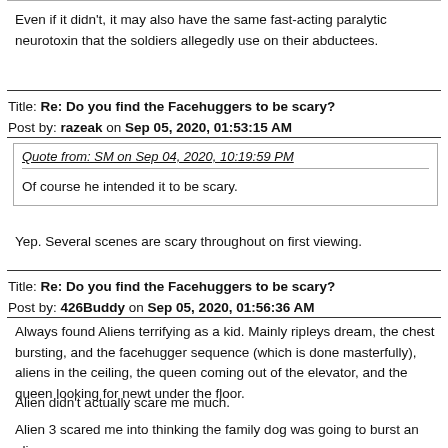Even if it didn't, it may also have the same fast-acting paralytic neurotoxin that the soldiers allegedly use on their abductees.
Title: Re: Do you find the Facehuggers to be scary?
Post by: razeak on Sep 05, 2020, 01:53:15 AM
Quote from: SM on Sep 04, 2020, 10:19:59 PM
Of course he intended it to be scary.
Yep. Several scenes are scary throughout on first viewing.
Title: Re: Do you find the Facehuggers to be scary?
Post by: 426Buddy on Sep 05, 2020, 01:56:36 AM
Always found Aliens terrifying as a kid. Mainly ripleys dream, the chest bursting, and the facehugger sequence (which is done masterfully), aliens in the ceiling, the queen coming out of the elevator, and the queen looking for newt under the floor.
Alien didn't actually scare me much.
Alien 3 scared me into thinking the family dog was going to burst an alien